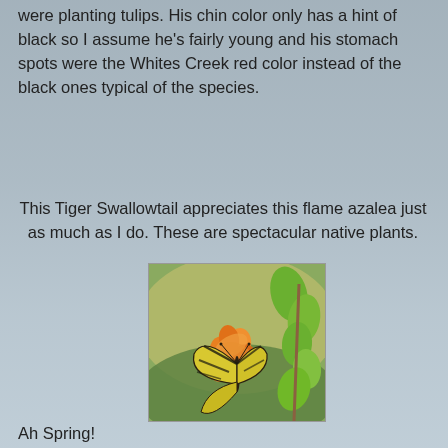were planting tulips. His chin color only has a hint of black so I assume he's fairly young and his stomach spots were the Whites Creek red color instead of the black ones typical of the species.
This Tiger Swallowtail appreciates this flame azalea just as much as I do. These are spectacular native plants.
[Figure (photo): A Tiger Swallowtail butterfly feeding on a flame azalea plant with yellow-orange flowers and green leaves, photographed with a blurred natural background.]
Ah Spring!